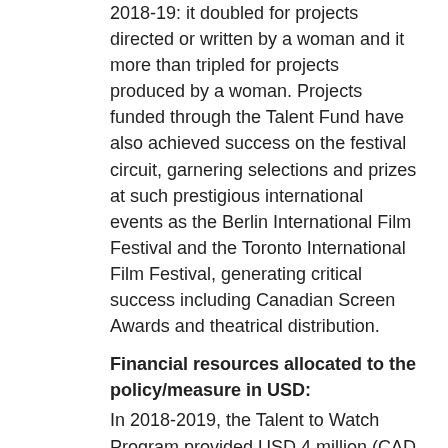2018-19: it doubled for projects directed or written by a woman and it more than tripled for projects produced by a woman. Projects funded through the Talent Fund have also achieved success on the festival circuit, garnering selections and prizes at such prestigious international events as the Berlin International Film Festival and the Toronto International Film Festival, generating critical success including Canadian Screen Awards and theatrical distribution.
Financial resources allocated to the policy/measure in USD:
In 2018-2019, the Talent to Watch Program provided USD 4 million (CAD 5.5 million) in production funding for 44 projects.
Has the implementation of the policy/measure been evaluated?:  NO
Partner(s) engaged in the implementation of the measure:
Telefilm Canada Talent Fund
Type of